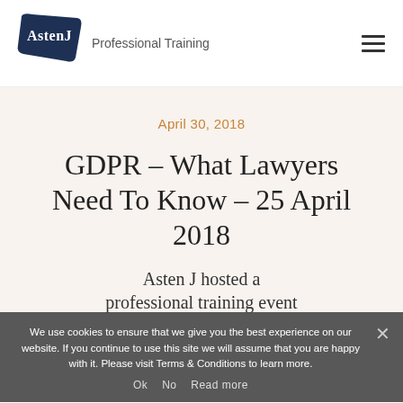[Figure (logo): AstenJ Professional Training logo — dark navy banner shape with white 'AstenJ' text, and 'Professional Training' text below in grey]
April 30, 2018
GDPR – What Lawyers Need To Know – 25 April 2018
Asten J hosted a professional training event
We use cookies to ensure that we give you the best experience on our website. If you continue to use this site we will assume that you are happy with it. Please visit Terms & Conditions to learn more.
Ok   No   Read more